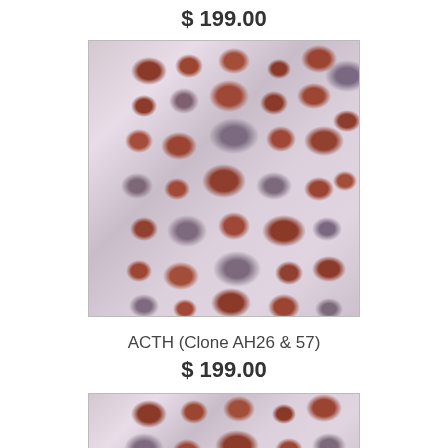$ 199.00
[Figure (photo): Immunohistochemistry microscopy image showing brown-stained (DAB) cells on a purple/blue hematoxylin counterstained background, high magnification view of tumor tissue]
ACTH (Clone AH26 & 57)
$ 199.00
[Figure (photo): Partial immunohistochemistry microscopy image (cropped at bottom) showing similar brown-stained cells on blue/purple background]